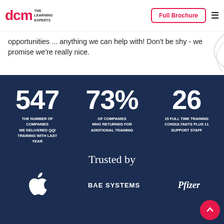DCM THE LEARNING EXPERTS | Full Brochure
opportunities ... anything we can help with! Don't be shy - we promise we're really nice.
547
THE NUMBER OF COMPANIES WE DELIVERED QQI TRAINING WITH LAST YEAR
73%
OF COMPANIES WHO RETURNED FOR ADDITIONAL TRAINING
26
15 FULL TIME TRAINING CONSULTANTS PLUS 11 SUPPORT STAFF
Trusted by
[Figure (logo): Apple logo (white)]
[Figure (logo): BAE SYSTEMS logo (white)]
[Figure (logo): Pfizer logo (white)]